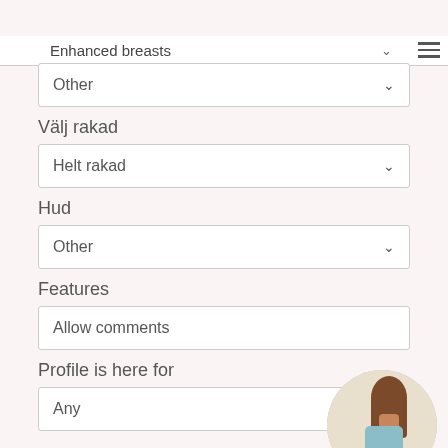Enhanced breasts
Bröst
Other
Välj rakad
Helt rakad
Hud
Other
Features
Allow comments
Profile is here for
Any
[Figure (photo): Circular thumbnail photo of a woman in a light blue top and denim shorts, viewed from behind, crouching.]